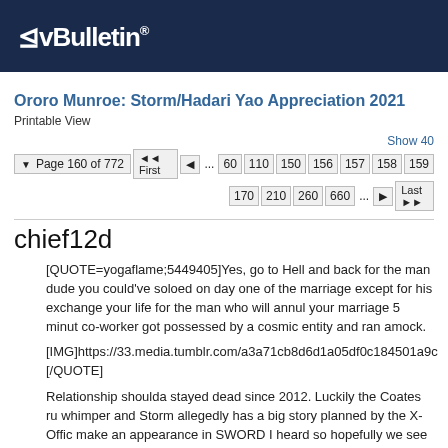vBulletin®
Ororo Munroe: Storm/Hadari Yao Appreciation 2021
Printable View
Show 40 | Page 160 of 772 | First | ... | 60 | 110 | 150 | 156 | 157 | 158 | 159 | 170 | 210 | 260 | 660 | ... | Last
chief12d
[QUOTE=yogaflame;5449405]Yes, go to Hell and back for the man dude you could've soloed on day one of the marriage except for his exchange your life for the man who will annul your marriage 5 minut co-worker got possessed by a cosmic entity and ran amock.

[IMG]https://33.media.tumblr.com/a3a71cb8d6d1a05df0c184501a9c [/QUOTE]

Relationship shoulda stayed dead since 2012. Luckily the Coates ru whimper and Storm allegedly has a big story planned by the X-Offic make an appearance in SWORD I heard so hopefully we see Ewing Storm. Looking forward to more interactions with her and Jean too.